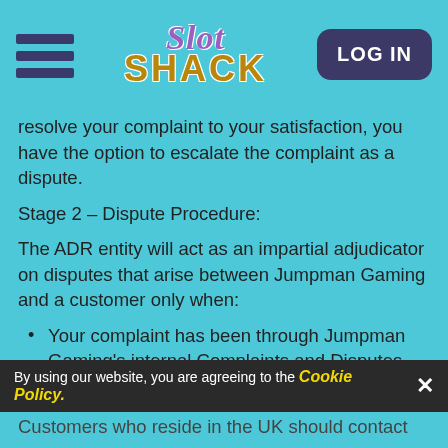Slot Shack — LOG IN
resolve your complaint to your satisfaction, you have the option to escalate the complaint as a dispute.
Stage 2 – Dispute Procedure:
The ADR entity will act as an impartial adjudicator on disputes that arise between Jumpman Gaming and a customer only when:
Your complaint has been through Jumpman Gaming's internal Complaints and Disputes procedure; and
A 'deadlock' regarding the determination exists.
OR you have not received a satisfactory resolution within 8 weeks of making the complaint.
Customers who reside in the UK should contact
By using our website, you are agreeing to the Cookie Policy.